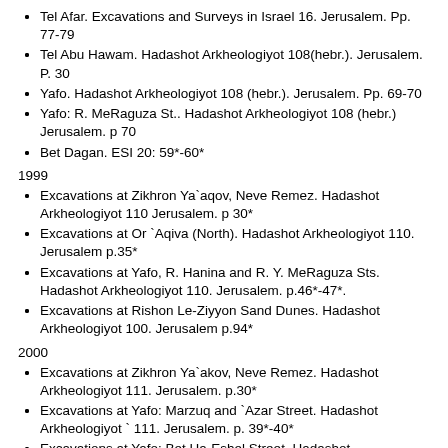Tel Afar. Excavations and Surveys in Israel 16. Jerusalem. Pp. 77-79
Tel Abu Hawam. Hadashot Arkheologiyot 108(hebr.). Jerusalem. P. 30
Yafo. Hadashot Arkheologiyot 108 (hebr.). Jerusalem. Pp. 69-70
Yafo: R. MeRaguza St.. Hadashot Arkheologiyot 108 (hebr.) Jerusalem. p 70
Bet Dagan. ESI 20: 59*-60*
1999
Excavations at Zikhron Ya`aqov, Neve Remez. Hadashot Arkheologiyot 110 Jerusalem. p 30*
Excavations at Or `Aqiva (North). Hadashot Arkheologiyot 110. Jerusalem p.35*
Excavations at Yafo, R. Hanina and R. Y. MeRaguza Sts. Hadashot Arkheologiyot 110. Jerusalem. p.46*-47*.
Excavations at Rishon Le-Ziyyon Sand Dunes. Hadashot Arkheologiyot 100. Jerusalem p.94*
2000
Excavations at Zikhron Ya`akov, Neve Remez. Hadashot Arkheologiyot 111. Jerusalem. p.30*
Excavations at Yafo: Marzuq and `Azar Street. Hadashot Arkheologiyot ` 111. Jerusalem. p. 39*-40*
Excavations at Yafo: Bet Ha-Eshel Street. Hadashot Arkheologiyot 111. Jerusalem p. 41*